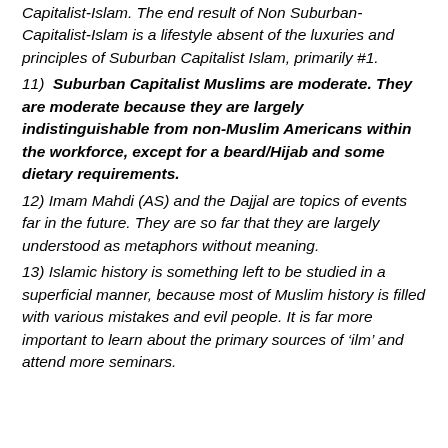Capitalist-Islam. The end result of Non Suburban-Capitalist-Islam is a lifestyle absent of the luxuries and principles of Suburban Capitalist Islam, primarily #1.
11) Suburban Capitalist Muslims are moderate. They are moderate because they are largely indistinguishable from non-Muslim Americans within the workforce, except for a beard/Hijab and some dietary requirements.
12) Imam Mahdi (AS) and the Dajjal are topics of events far in the future. They are so far that they are largely understood as metaphors without meaning.
13) Islamic history is something left to be studied in a superficial manner, because most of Muslim history is filled with various mistakes and evil people. It is far more important to learn about the primary sources of 'ilm' and attend more seminars.